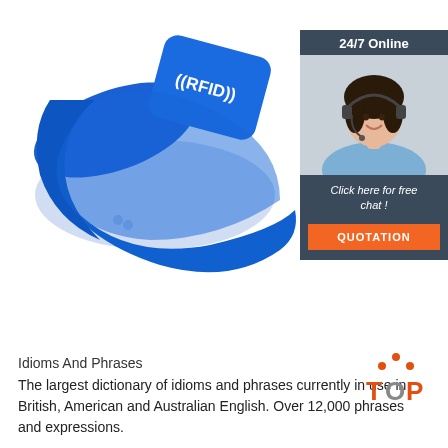[Figure (photo): Blue silicone RFID wristband with white RFID logo and text on the face, shown on white background]
[Figure (infographic): Chat widget showing '24/7 Online' header, photo of smiling woman with headset, 'Click here for free chat!' text, and orange 'QUOTATION' button]
Idioms And Phrases
The largest dictionary of idioms and phrases currently in use in British, American and Australian English. Over 12,000 phrases and expressions.
[Figure (logo): TOP logo with orange dots and text]